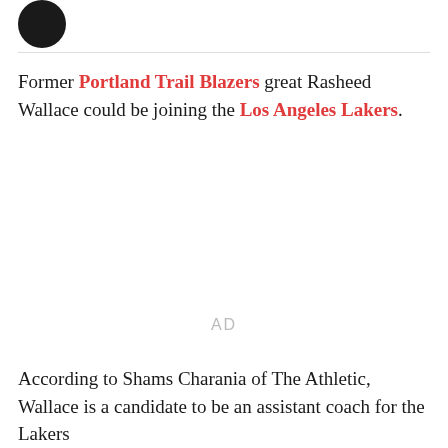[Figure (logo): Black circular logo partially visible at top left]
Former Portland Trail Blazers great Rasheed Wallace could be joining the Los Angeles Lakers.
[Figure (other): AD placeholder advertisement area]
According to Shams Charania of The Athletic, Wallace is a candidate to be an assistant coach for the Lakers